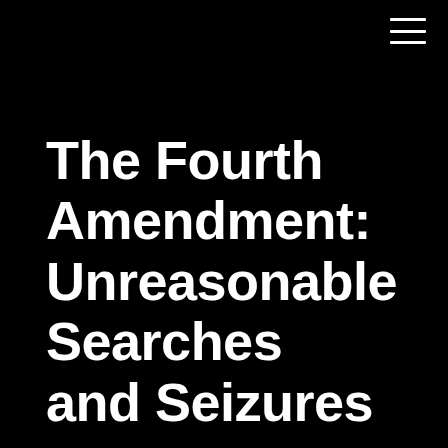[Figure (other): Hamburger menu icon with three horizontal white lines on black background, positioned top-right corner]
The Fourth Amendment: Unreasonable Searches and Seizures